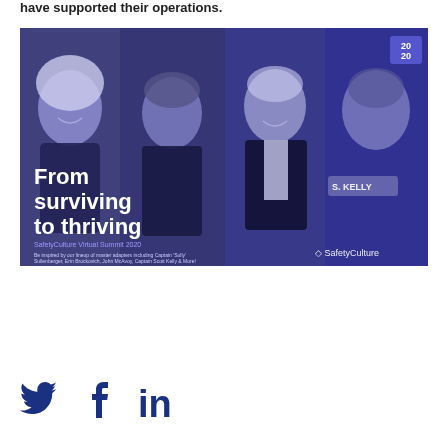have supported their operations.
[Figure (photo): SafetyCulture Virtual Summit 2020 promotional banner showing four people (a smiling blonde woman, a serious-looking male athlete, an older smiling man in a suit, and an astronaut labeled S. Kelly) with text overlay 'From surviving to thriving' and SafetyCulture branding. A '2020' badge appears in the top right corner.]
[Figure (other): Social media icons: Twitter bird, Facebook f, LinkedIn in — all in dark navy blue color.]